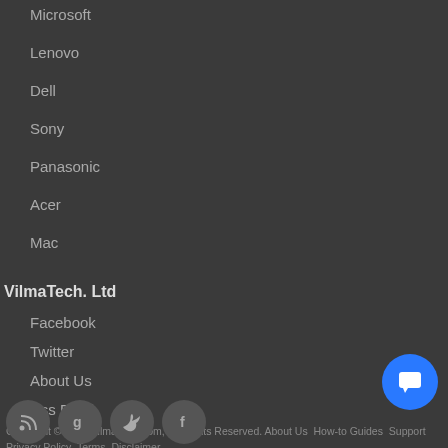Microsoft
Lenovo
Dell
Sony
Panasonic
Acer
Mac
VilmaTech. Ltd
Facebook
Twitter
About Us
Rss Feed
Copyright © 2022 VilmaTech.com, All Rights Reserved. About Us  How-to Guides  Support  Privacy Policy  Terms  Disclaimer
[Figure (other): Social media icons: RSS, Google, Twitter, Facebook circles]